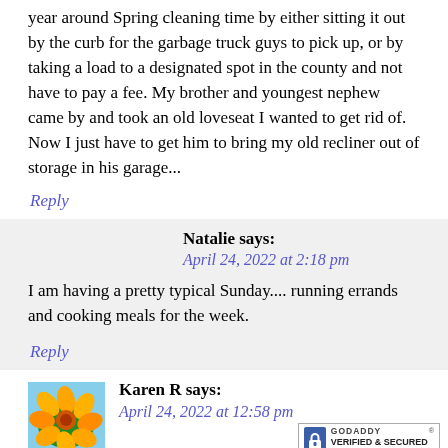year around Spring cleaning time by either sitting it out by the curb for the garbage truck guys to pick up, or by taking a load to a designated spot in the county and not have to pay a fee. My brother and youngest nephew came by and took an old loveseat I wanted to get rid of. Now I just have to get him to bring my old recliner out of storage in his garage...
Reply
Natalie says:
April 24, 2022 at 2:18 pm
I am having a pretty typical Sunday.... running errands and cooking meals for the week.
Reply
Karen R says:
April 24, 2022 at 12:58 pm
[Figure (photo): Orange/yellow flowers photo used as commenter avatar for Karen R]
[Figure (logo): GoDaddy Verified & Secured badge with lock icon]